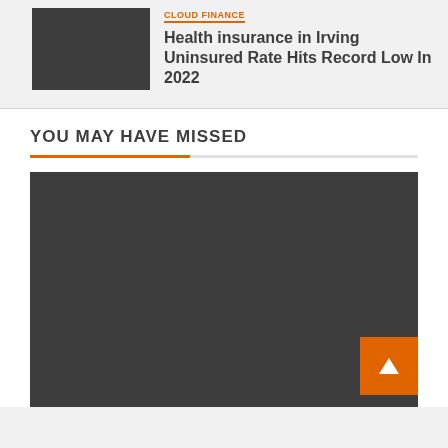[Figure (photo): Dark gray thumbnail image placeholder for article]
Health insurance in Irving Uninsured Rate Hits Record Low In 2022
YOU MAY HAVE MISSED
[Figure (photo): Large dark gray image placeholder for featured article in 'You May Have Missed' section, with orange scroll-to-top button in lower right]